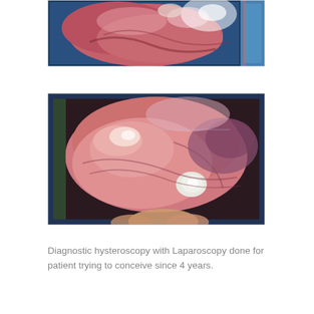[Figure (photo): Endoscopic/laparoscopic image showing internal tissue, pink-red hues with bright light reflection, partial view cut off on right side.]
[Figure (photo): Laparoscopic image showing internal pelvic organs with pink tissue, a white/light-colored mass visible, and surgical instrument partially visible at bottom.]
Diagnostic hysteroscopy with Laparoscopy done for patient trying to conceive since 4 years.